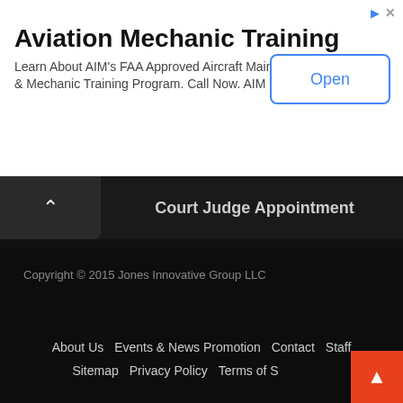[Figure (screenshot): Advertisement banner for Aviation Mechanic Training by AIM Institute with an Open button]
Court Judge Appointment
Categories
Select Category
Copyright © 2015 Jones Innovative Group LLC
About Us   Events & News Promotion   Contact   Staff   Sitemap   Privacy Policy   Terms of S…